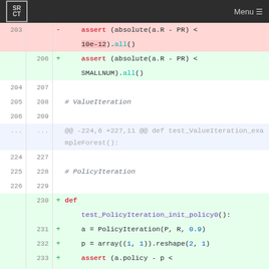SRCT | Menu
[Figure (screenshot): A git diff view showing Python code changes. Removed lines (red background) show old assert with 10e-12. Added lines (green background) show new assert with SMALLNUM, new function test_PolicyIteration_init_policy0, and added lines for PolicyIteration and assert on a.policy.]